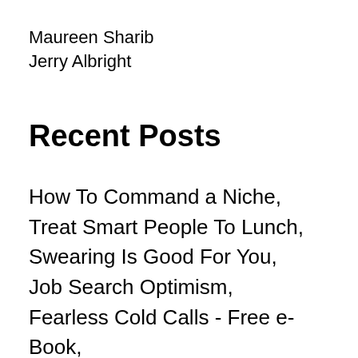Maureen Sharib
Jerry Albright
Recent Posts
How To Command a Niche,
Treat Smart People To Lunch,
Swearing Is Good For You,
Job Search Optimism,
Fearless Cold Calls - Free e-Book,
Lovely Lisa Rosendahl wins Tim Sackett Day,
The Bright Side Of Lying,
My Facebook Group,